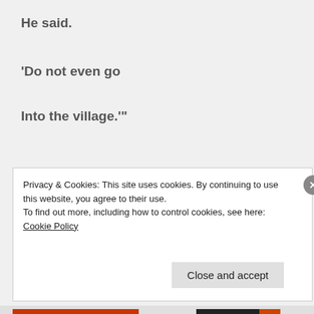He said.
'Do not even go
Into the village.'"
καὶ ἀπέστειλεν αὐτὸν εἰς οἶκον αὐτοῦ λέγων Μηδὲ εἰς τὴν κώμην εἰσέλθης.
Privacy & Cookies: This site uses cookies. By continuing to use this website, you agree to their use.
To find out more, including how to control cookies, see here: Cookie Policy